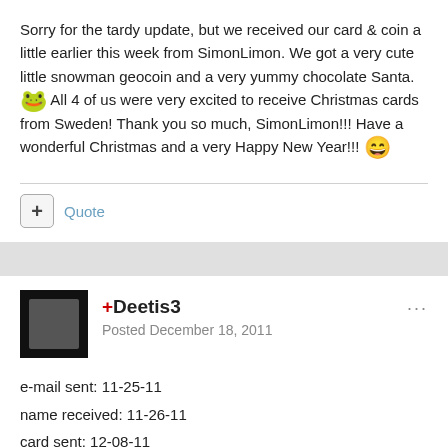Sorry for the tardy update, but we received our card & coin a little earlier this week from SimonLimon. We got a very cute little snowman geocoin and a very yummy chocolate Santa. 🐸 All 4 of us were very excited to receive Christmas cards from Sweden! Thank you so much, SimonLimon!!! Have a wonderful Christmas and a very Happy New Year!!! 😄
Quote
+Deetis3
Posted December 18, 2011
e-mail sent: 11-25-11
name received: 11-26-11
card sent: 12-08-11
card recieved: 12-17-11
Admittedm Santa/Smith for the nice card received and big...